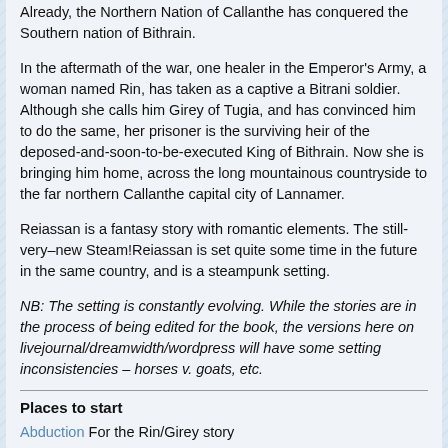Already, the Northern Nation of Callanthe has conquered the Southern nation of Bithrain.
In the aftermath of the war, one healer in the Emperor's Army, a woman named Rin, has taken as a captive a Bitrani soldier. Although she calls him Girey of Tugia, and has convinced him to do the same, her prisoner is the surviving heir of the deposed-and-soon-to-be-executed King of Bithrain. Now she is bringing him home, across the long mountainous countryside to the far northern Callanthe capital city of Lannamer.
Reiassan is a fantasy story with romantic elements. The still-very–new Steam!Reiassan is set quite some time in the future in the same country, and is a steampunk setting.
NB: The setting is constantly evolving. While the stories are in the process of being edited for the book, the versions here on livejournal/dreamwidth/wordpress will have some setting inconsistencies – horses v. goats, etc.
Places to start
Abduction For the Rin/Girey story
Coming Soon: title for the Rin/Girey...